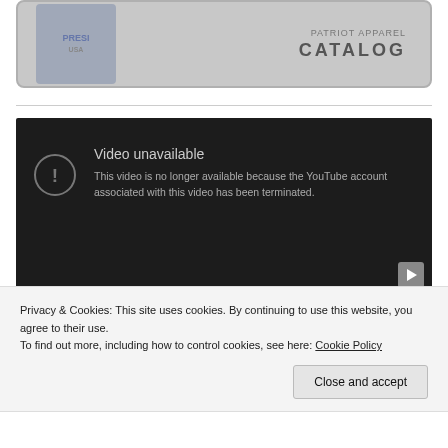[Figure (screenshot): Partial catalog image showing a patriotic/political apparel catalog with US flag imagery and the text 'CATALOG' visible]
[Figure (screenshot): YouTube video embed showing 'Video unavailable' error message: 'This video is no longer available because the YouTube account associated with this video has been terminated.' with a play button in the bottom right corner.]
Privacy & Cookies: This site uses cookies. By continuing to use this website, you agree to their use.
To find out more, including how to control cookies, see here: Cookie Policy
Close and accept